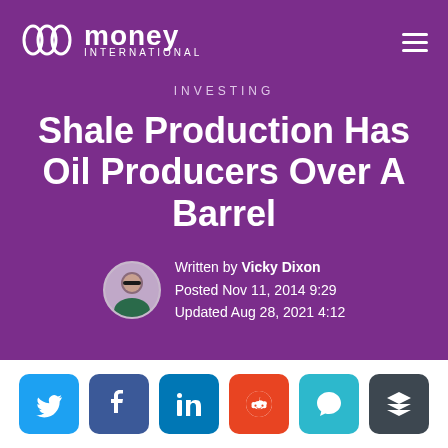[Figure (logo): Money International logo with stylized M icon and text]
INVESTING
Shale Production Has Oil Producers Over A Barrel
Written by Vicky Dixon
Posted Nov 11, 2014 9:29
Updated Aug 28, 2021 4:12
[Figure (photo): Circular author photo of Vicky Dixon]
[Figure (infographic): Social sharing buttons: Twitter, Facebook, LinkedIn, Reddit, Comment, Buffer]